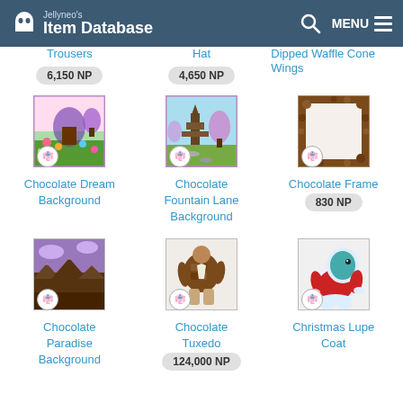Jellyneo's Item Database — MENU
Trousers — 6,150 NP
Hat — 4,650 NP
Dipped Wafle Cone Wings
[Figure (illustration): Chocolate Dream Background item thumbnail with purple border]
Chocolate Dream Background
[Figure (illustration): Chocolate Fountain Lane Background item thumbnail with purple border]
Chocolate Fountain Lane Background
[Figure (illustration): Chocolate Frame item thumbnail with brown border]
Chocolate Frame
830 NP
[Figure (illustration): Chocolate Paradise Background item thumbnail]
Chocolate Paradise Background
[Figure (illustration): Chocolate Tuxedo item thumbnail]
Chocolate Tuxedo
124,000 NP
[Figure (illustration): Christmas Lupe Coat item thumbnail]
Christmas Lupe Coat